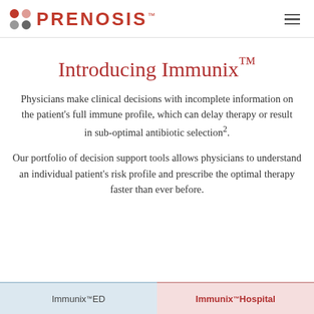[Figure (logo): Prenosis logo with red and grey dot grid and PRENOSIS text in red with TM mark, and hamburger menu icon on the right]
Introducing Immunix™
Physicians make clinical decisions with incomplete information on the patient's full immune profile, which can delay therapy or result in sub-optimal antibiotic selection².
Our portfolio of decision support tools allows physicians to understand an individual patient's risk profile and prescribe the optimal therapy faster than ever before.
Immunix™ ED   Immunix™ Hospital